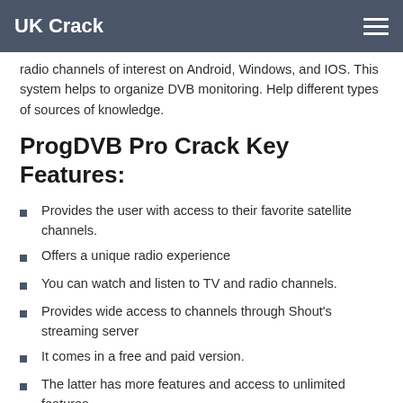UK Crack
radio channels of interest on Android, Windows, and IOS. This system helps to organize DVB monitoring. Help different types of sources of knowledge.
ProgDVB Pro Crack Key Features:
Provides the user with access to their favorite satellite channels.
Offers a unique radio experience
You can watch and listen to TV and radio channels.
Provides wide access to channels through Shout's streaming server
It comes in a free and paid version.
The latter has more features and access to unlimited features.
Allows you to manage and rename your videos and channels in folders
You can watch channels like you would on TV.